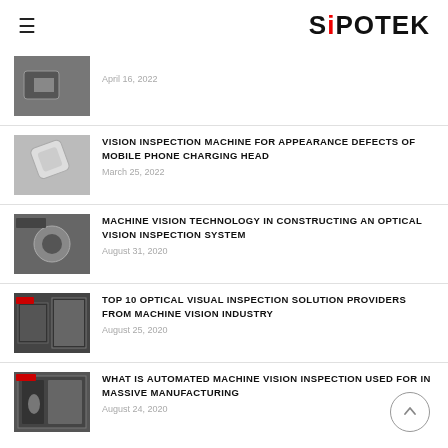SIPOTEK
April 16, 2022
VISION INSPECTION MACHINE FOR APPEARANCE DEFECTS OF MOBILE PHONE CHARGING HEAD
March 25, 2022
MACHINE VISION TECHNOLOGY IN CONSTRUCTING AN OPTICAL VISION INSPECTION SYSTEM
August 31, 2020
TOP 10 OPTICAL VISUAL INSPECTION SOLUTION PROVIDERS FROM MACHINE VISION INDUSTRY
August 25, 2020
WHAT IS AUTOMATED MACHINE VISION INSPECTION USED FOR IN MASSIVE MANUFACTURING
August 24, 2020